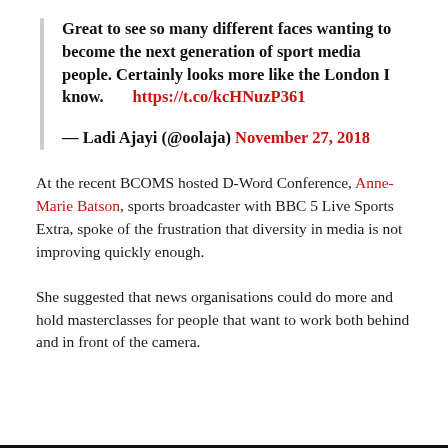Great to see so many different faces wanting to become the next generation of sport media people. Certainly looks more like the London I know.      https://t.co/kcHNuzP361
— Ladi Ajayi (@oolaja) November 27, 2018
At the recent BCOMS hosted D-Word Conference, Anne-Marie Batson, sports broadcaster with BBC 5 Live Sports Extra, spoke of the frustration that diversity in media is not improving quickly enough.
She suggested that news organisations could do more and hold masterclasses for people that want to work both behind and in front of the camera.